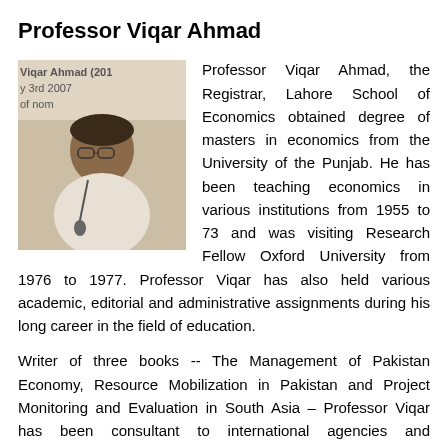Professor Viqar Ahmad
[Figure (photo): Photo of Professor Viqar Ahmad at a podium with microphone, event banner visible in background showing 'July 3rd 2007']
Professor Viqar Ahmad, the Registrar, Lahore School of Economics obtained degree of masters in economics from the University of the Punjab. He has been teaching economics in various institutions from 1955 to 73 and was visiting Research Fellow Oxford University from 1976 to 1977. Professor Viqar has also held various academic, editorial and administrative assignments during his long career in the field of education.
Writer of three books -- The Management of Pakistan Economy, Resource Mobilization in Pakistan and Project Monitoring and Evaluation in South Asia – Professor Viqar has been consultant to international agencies and organization like ILO Asian Regional Team for Employment Promotion, Ford Foundation, United Nations Development